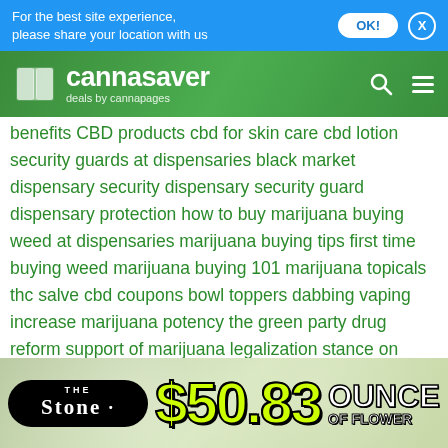For the best site experience, please share your location with us
[Figure (logo): Cannasaver logo - deals by cannapages, green header bar]
benefits CBD products cbd for skin care cbd lotion security guards at dispensaries black market dispensary security dispensary security guard dispensary protection how to buy marijuana buying weed at dispensaries marijuana buying tips first time buying weed marijuana buying 101 marijuana topicals thc salve cbd coupons bowl toppers dabbing vaping increase marijuana potency the green party drug reform support of marijuana legalization stance on drugs marijuana reform halloween deals in denver denver halloween deals halloween marijuana deals halloweed deals halloween weed deals what is cbd cbd rich strains cbd deals near me where to buy cbd cbd deals latest dispensary deals dispensary deals near you weed
[Figure (advertisement): The Stone dispensary ad - $50.83 ounce of flower]